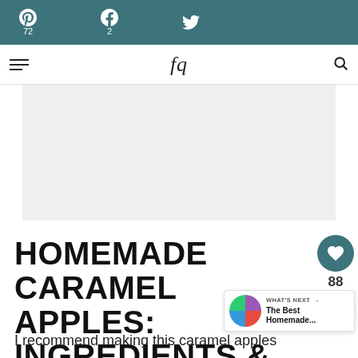Pinterest 72 | Facebook 2 | Twitter
[Figure (screenshot): Website navigation bar with cursive logo]
[Figure (other): Advertisement placeholder area (gray background)]
HOMEMADE CARAMEL APPLES: INGREDIENTS & SUBSTITUTIONS
[Figure (other): Social sharing sidebar with heart button (88 saves) and share icon]
[Figure (other): What's Next panel: The Best Homemade... with circular food photo]
I recommend making this caramel apples